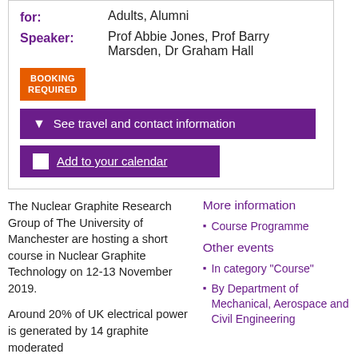for: Adults, Alumni
Speaker: Prof Abbie Jones, Prof Barry Marsden, Dr Graham Hall
BOOKING REQUIRED
See travel and contact information
Add to your calendar
The Nuclear Graphite Research Group of The University of Manchester are hosting a short course in Nuclear Graphite Technology on 12-13 November 2019.
Around 20% of UK electrical power is generated by 14 graphite moderated
More information
Course Programme
Other events
In category "Course"
By Department of Mechanical, Aerospace and Civil Engineering